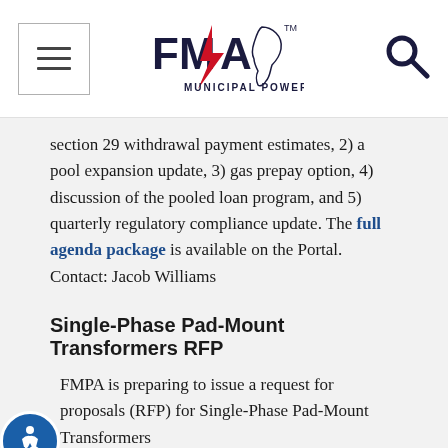[Figure (logo): FMPA Municipal Power logo with Florida state outline and red lightning bolt]
section 29 withdrawal payment estimates, 2) a pool expansion update, 3) gas prepay option, 4) discussion of the pooled loan program, and 5) quarterly regulatory compliance update. The full agenda package is available on the Portal. Contact: Jacob Williams
Single-Phase Pad-Mount Transformers RFP
FMPA is preparing to issue a request for proposals (RFP) for Single-Phase Pad-Mount Transformers